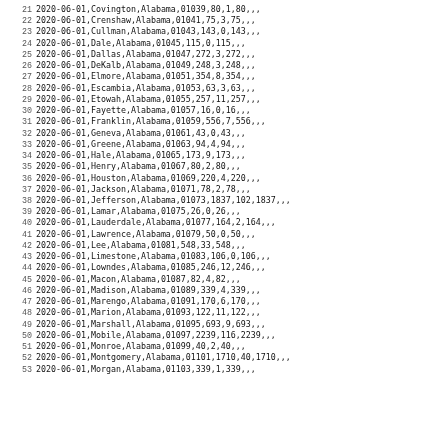| line | date | county | state | fips | val1 | val2 | val3 |  |  |  |
| --- | --- | --- | --- | --- | --- | --- | --- | --- | --- | --- |
| 21 | 2020-06-01 | Covington | Alabama | 01039 | 80 | 1 | 80 |  |  |  |
| 22 | 2020-06-01 | Crenshaw | Alabama | 01041 | 75 | 3 | 75 |  |  |  |
| 23 | 2020-06-01 | Cullman | Alabama | 01043 | 143 | 0 | 143 |  |  |  |
| 24 | 2020-06-01 | Dale | Alabama | 01045 | 115 | 0 | 115 |  |  |  |
| 25 | 2020-06-01 | Dallas | Alabama | 01047 | 272 | 3 | 272 |  |  |  |
| 26 | 2020-06-01 | DeKalb | Alabama | 01049 | 248 | 3 | 248 |  |  |  |
| 27 | 2020-06-01 | Elmore | Alabama | 01051 | 354 | 8 | 354 |  |  |  |
| 28 | 2020-06-01 | Escambia | Alabama | 01053 | 63 | 3 | 63 |  |  |  |
| 29 | 2020-06-01 | Etowah | Alabama | 01055 | 257 | 11 | 257 |  |  |  |
| 30 | 2020-06-01 | Fayette | Alabama | 01057 | 16 | 0 | 16 |  |  |  |
| 31 | 2020-06-01 | Franklin | Alabama | 01059 | 556 | 7 | 556 |  |  |  |
| 32 | 2020-06-01 | Geneva | Alabama | 01061 | 43 | 0 | 43 |  |  |  |
| 33 | 2020-06-01 | Greene | Alabama | 01063 | 94 | 4 | 94 |  |  |  |
| 34 | 2020-06-01 | Hale | Alabama | 01065 | 173 | 9 | 173 |  |  |  |
| 35 | 2020-06-01 | Henry | Alabama | 01067 | 80 | 2 | 80 |  |  |  |
| 36 | 2020-06-01 | Houston | Alabama | 01069 | 220 | 4 | 220 |  |  |  |
| 37 | 2020-06-01 | Jackson | Alabama | 01071 | 78 | 2 | 78 |  |  |  |
| 38 | 2020-06-01 | Jefferson | Alabama | 01073 | 1837 | 102 | 1837 |  |  |  |
| 39 | 2020-06-01 | Lamar | Alabama | 01075 | 26 | 0 | 26 |  |  |  |
| 40 | 2020-06-01 | Lauderdale | Alabama | 01077 | 164 | 2 | 164 |  |  |  |
| 41 | 2020-06-01 | Lawrence | Alabama | 01079 | 50 | 0 | 50 |  |  |  |
| 42 | 2020-06-01 | Lee | Alabama | 01081 | 548 | 33 | 548 |  |  |  |
| 43 | 2020-06-01 | Limestone | Alabama | 01083 | 106 | 0 | 106 |  |  |  |
| 44 | 2020-06-01 | Lowndes | Alabama | 01085 | 246 | 12 | 246 |  |  |  |
| 45 | 2020-06-01 | Macon | Alabama | 01087 | 82 | 4 | 82 |  |  |  |
| 46 | 2020-06-01 | Madison | Alabama | 01089 | 339 | 4 | 339 |  |  |  |
| 47 | 2020-06-01 | Marengo | Alabama | 01091 | 170 | 6 | 170 |  |  |  |
| 48 | 2020-06-01 | Marion | Alabama | 01093 | 122 | 11 | 122 |  |  |  |
| 49 | 2020-06-01 | Marshall | Alabama | 01095 | 693 | 9 | 693 |  |  |  |
| 50 | 2020-06-01 | Mobile | Alabama | 01097 | 2239 | 116 | 2239 |  |  |  |
| 51 | 2020-06-01 | Monroe | Alabama | 01099 | 40 | 2 | 40 |  |  |  |
| 52 | 2020-06-01 | Montgomery | Alabama | 01101 | 1710 | 40 | 1710 |  |  |  |
| 53 | 2020-06-01 | Morgan | Alabama | 01103 | 339 | 1 | 339 |  |  |  |